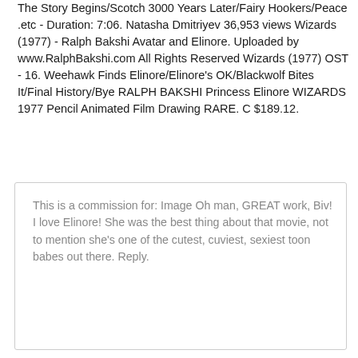The Story Begins/Scotch 3000 Years Later/Fairy Hookers/Peace .etc - Duration: 7:06. Natasha Dmitriyev 36,953 views Wizards (1977) - Ralph Bakshi Avatar and Elinore. Uploaded by www.RalphBakshi.com All Rights Reserved Wizards (1977) OST - 16. Weehawk Finds Elinore/Elinore's OK/Blackwolf Bites It/Final History/Bye RALPH BAKSHI Princess Elinore WIZARDS 1977 Pencil Animated Film Drawing RARE. C $189.12.
This is a commission for: Image Oh man, GREAT work, Biv! I love Elinore! She was the best thing about that movie, not to mention she's one of the cutest, cuviest, sexiest toon babes out there. Reply.